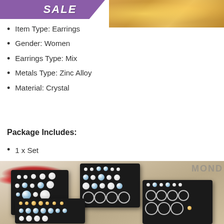[Figure (photo): Purple SALE banner with bokeh light background photo at top]
Item Type: Earrings
Gender: Women
Earrings Type: Mix
Metals Type: Zinc Alloy
Material: Crystal
Package Includes:
1 x Set
[Figure (photo): Product photo showing four black earring display cards with various crystal, pearl, and hoop earring sets arranged on a tan surface with a red rose and MONDO text visible in background]